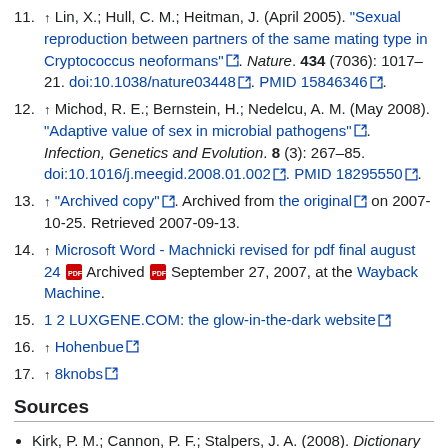11. ↑ Lin, X.; Hull, C. M.; Heitman, J. (April 2005). "Sexual reproduction between partners of the same mating type in Cryptococcus neoformans". Nature. 434 (7036): 1017–21. doi:10.1038/nature03448. PMID 15846346.
12. ↑ Michod, R. E.; Bernstein, H.; Nedelcu, A. M. (May 2008). "Adaptive value of sex in microbial pathogens". Infection, Genetics and Evolution. 8 (3): 267–85. doi:10.1016/j.meegid.2008.01.002. PMID 18295550.
13. ↑ "Archived copy". Archived from the original on 2007-10-25. Retrieved 2007-09-13.
14. ↑ Microsoft Word - Machnicki revised for pdf final august 24 Archived September 27, 2007, at the Wayback Machine.
15. 1 2 LUXGENE.COM: the glow-in-the-dark website
16. ↑ Hohenbue
17. ↑ 8knobs
Sources
Kirk, P. M.; Cannon, P. F.; Stalpers, J. A. (2008). Dictionary of the Fungi (10th ed.). CABI.
External links